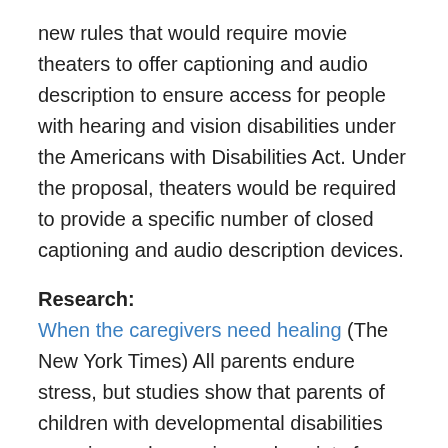new rules that would require movie theaters to offer captioning and audio description to ensure access for people with hearing and vision disabilities under the Americans with Disabilities Act. Under the proposal, theaters would be required to provide a specific number of closed captioning and audio description devices.
Research:
When the caregivers need healing (The New York Times) All parents endure stress, but studies show that parents of children with developmental disabilities experience depression and anxiety far more often. However, a study published recently in the journal Pediatrics offers hope. It found that just six weeks of training in simple mindfulness and “positive adult development” led to significant reductions in stress, depression, and anxiety among these parents.